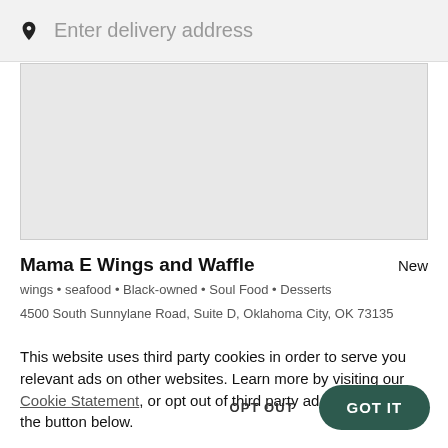[Figure (screenshot): Search bar with pin icon and placeholder text 'Enter delivery address' on grey background]
[Figure (other): Grey map/content area placeholder]
Mama E Wings and Waffle
New
wings • seafood • Black-owned • Soul Food • Desserts
4500 South Sunnylane Road, Suite D, Oklahoma City, OK 73135
This website uses third party cookies in order to serve you relevant ads on other websites. Learn more by visiting our Cookie Statement, or opt out of third party ad cookies using the button below.